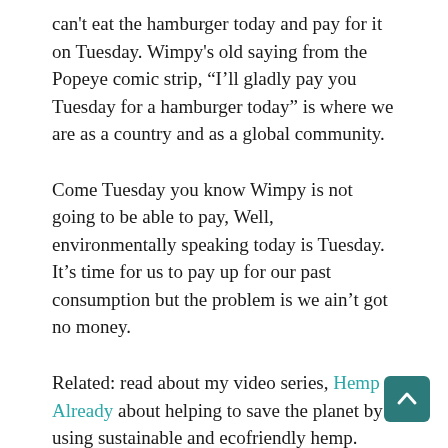can't eat the hamburger today and pay for it on Tuesday. Wimpy's old saying from the Popeye comic strip, “I’ll gladly pay you Tuesday for a hamburger today” is where we are as a country and as a global community.
Come Tuesday you know Wimpy is not going to be able to pay, Well, environmentally speaking today is Tuesday. It’s time for us to pay up for our past consumption but the problem is we ain’t got no money.
Related: read about my video series, Hemp Already about helping to save the planet by using sustainable and ecofriendly hemp.
On a personal level, No Words speaks to how we